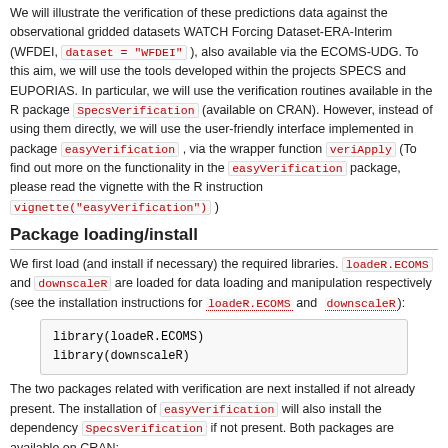We will illustrate the verification of these predictions data against the observational gridded datasets WATCH Forcing Dataset-ERA-Interim (WFDEI, dataset = "WFDEI" ), also available via the ECOMS-UDG. To this aim, we will use the tools developed within the projects SPECS and EUPORIAS. In particular, we will use the verification routines available in the R package SpecsVerification (available on CRAN). However, instead of using them directly, we will use the user-friendly interface implemented in package easyVerification , via the wrapper function veriApply (To find out more on the functionality in the easyVerification package, please read the vignette with the R instruction vignette("easyVerification") )
Package loading/install
We first load (and install if necessary) the required libraries. loadeR.ECOMS and downscaleR are loaded for data loading and manipulation respectively (see the installation instructions for loadeR.ECOMS and downscaleR):
library(loadeR.ECOMS)
library(downscaleR)
The two packages related with verification are next installed if not already present. The installation of easyVerification will also install the dependency SpecsVerification if not present. Both packages are available on CRAN: